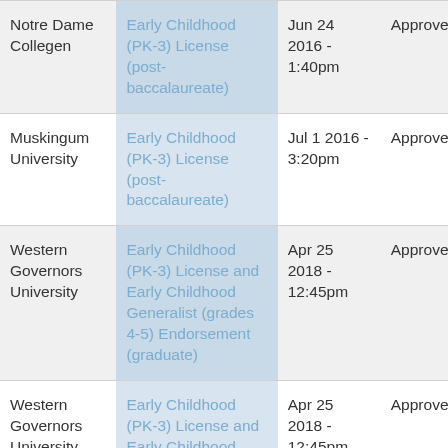| Notre Dame Collegen | Early Childhood (PK-3) License (post-baccalaureate) | Jun 24 2016 - 1:40pm | Approved |
| Muskingum University | Early Childhood (PK-3) License (post-baccalaureate) | Jul 1 2016 - 3:20pm | Approved |
| Western Governors University | Early Childhood (PK-3) License and Early Childhood Generalist (grades 4-5) Endorsement (graduate) | Apr 25 2018 - 12:45pm | Approved |
| Western Governors University | Early Childhood (PK-3) License and Early Childhood… | Apr 25 2018 - 12:45pm | Approved |